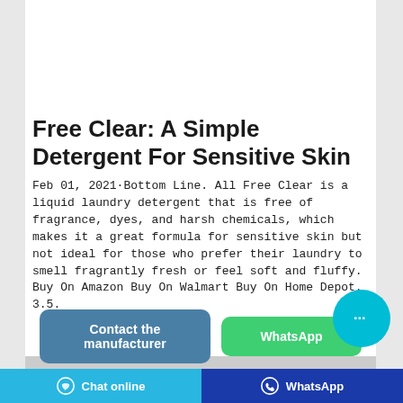[Figure (photo): Orange laundry detergent bag/package on a gray background]
Free Clear: A Simple Detergent For Sensitive Skin
Feb 01, 2021·Bottom Line. All Free Clear is a liquid laundry detergent that is free of fragrance, dyes, and harsh chemicals, which makes it a great formula for sensitive skin but not ideal for those who prefer their laundry to smell fragrantly fresh or feel soft and fluffy. Buy On Amazon Buy On Walmart Buy On Home Depot. 3.5.
[Figure (screenshot): Contact the manufacturer button (teal/blue) and WhatsApp button (green), with a cyan chat bubble floating button]
Chat online | WhatsApp